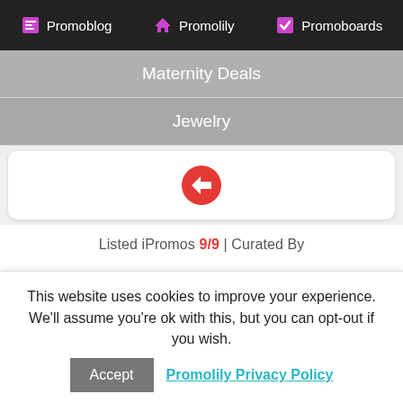Promoblog | Promolily | Promoboards
Maternity Deals
Jewelry
[Figure (other): Red circle back arrow button]
Listed iPromos 9/9  |  Curated By
[Figure (other): Large empty circle/avatar placeholder]
This website uses cookies to improve your experience. We'll assume you're ok with this, but you can opt-out if you wish.
Accept  Promolily Privacy Policy